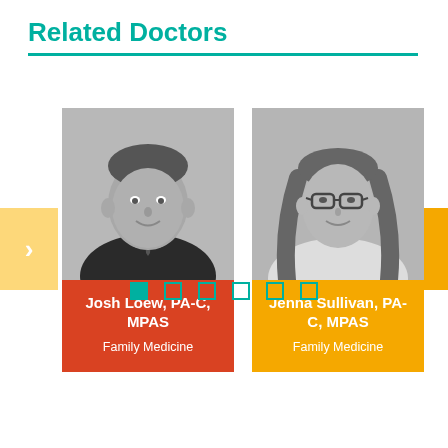Related Doctors
[Figure (photo): Headshot of Josh Loew, PA-C, MPAS — black and white photo of a young man in a dark suit and tie, smiling]
Josh Loew, PA-C, MPAS
Family Medicine
[Figure (photo): Headshot of Jenna Sullivan, PA-C, MPAS — black and white photo of a young woman with glasses and long straight hair, smiling, wearing a white coat]
Jenna Sullivan, PA-C, MPAS
Family Medicine